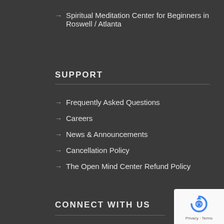Spiritual Meditation Center for Beginners in Roswell / Atlanta
SUPPORT
Frequently Asked Questions
Careers
News & Announcements
Cancellation Policy
The Open Mind Center Refund Policy
CONNECT WITH US
[Figure (logo): reCAPTCHA badge with circular arrow logo and Privacy - Terms text]